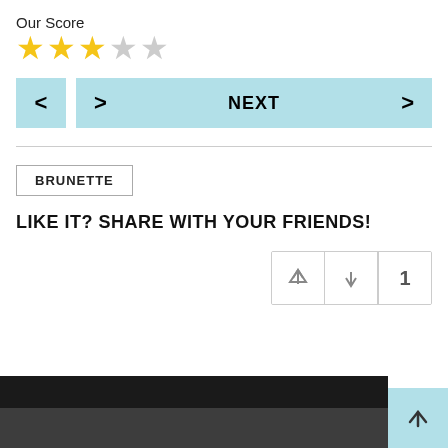Our Score
[Figure (other): Star rating: 3 out of 5 stars (3 filled yellow, 2 empty grey)]
[Figure (other): Navigation buttons: left arrow (previous) and NEXT button with right arrow]
BRUNETTE
LIKE IT? SHARE WITH YOUR FRIENDS!
[Figure (other): Vote widget with up arrow, down arrow, and count of 1]
[Figure (other): Bottom strip with dark image area and light blue scroll-to-top arrow button]